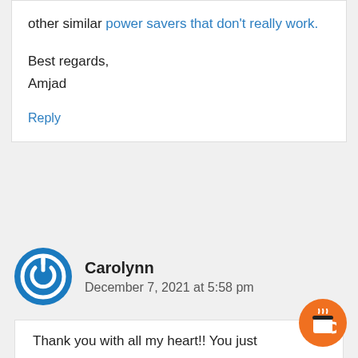other similar power savers that don't really work.
Best regards,
Amjad
Reply
Carolynn
December 7, 2021 at 5:58 pm
Thank you with all my heart!! You just